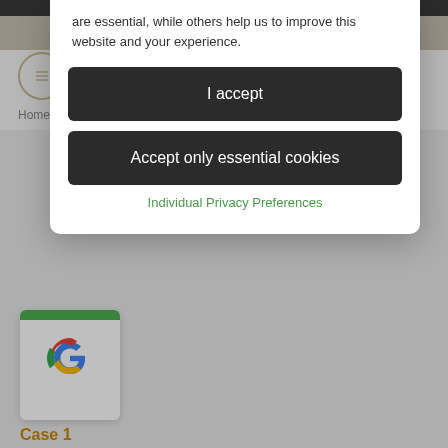are essential, while others help us to improve this website and your experience.
I accept
Accept only essential cookies
Individual Privacy Preferences
Smile Gallery
Home > Smile Gallery
[Figure (logo): Google 'G' logo inside a white card with green bar on top]
Case 1